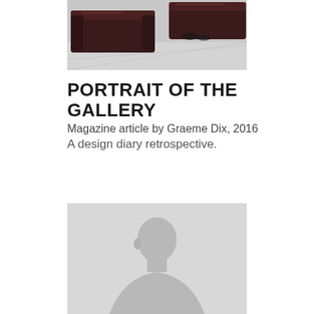[Figure (photo): Partial photo of dark leather furniture (sofas/couches) in what appears to be a gallery or modern interior space, viewed from an angle, cropped at top of page]
PORTRAIT OF THE GALLERY
Magazine article by Graeme Dix, 2016
A design diary retrospective.
[Figure (photo): Placeholder silhouette image of a person (grey background with darker grey human silhouette/bust), typical placeholder portrait image]